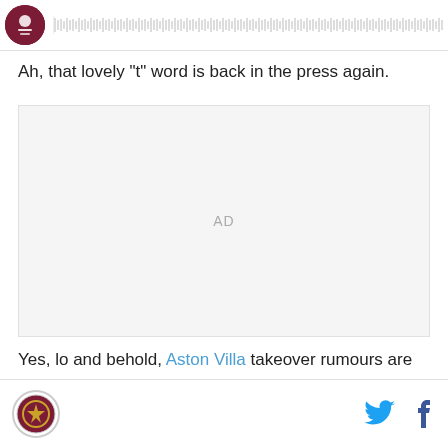[Figure (other): Podcast/audio player bar with circular maroon logo and audio waveform/progress bar]
Ah, that lovely "t" word is back in the press again.
[Figure (other): Advertisement placeholder block with 'AD' text centered]
Yes, lo and behold, Aston Villa takeover rumours are
Aston Villa logo icon, Twitter bird icon, Facebook f icon